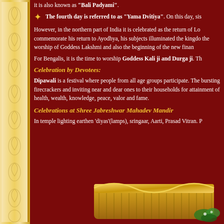it is also known as "Bali Padyami".
The fourth day is referred to as "Yama Dvitiya". On this day, sis
However, in the northern part of India it is celebrated as the return of Lo... commemorate his return to Ayodhya, his subjects illuminated the kingdo... the worship of Goddess Lakshmi and also the beginning of the new finan...
For Bengalis, it is the time to worship Goddess Kali ji and Durga ji. Th
Celebration by Devotees:
Dipawali is a festival where people from all age groups participate. The bursting firecrackers and inviting near and dear ones to their households for attainment of health, wealth, knowledge, peace, valor and fame.
Celebrations at Shree Jabreshwar Mahadev Mandir
In temple lighting earthen 'diyas'(lamps), sringaar, Aarti, Prasad Vitran. P
[Figure (photo): Decorative golden throne/chariot ornament with green foliage details at bottom of page]